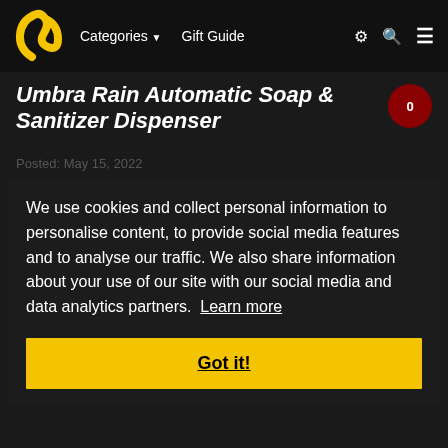Categories ▼   Gift Guide   ⚙ 🔍 ☰
Umbra Rain Automatic Soap & Sanitizer Dispenser
Posted: May 15, 2022
We use cookies and collect personal information to personalise content, to provide social media features and to analyse our traffic. We also share information about your use of our site with our social media and data analytics partners. Learn more
Got it!